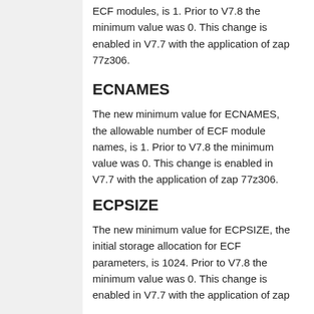ECF modules, is 1. Prior to V7.8 the minimum value was 0. This change is enabled in V7.7 with the application of zap 77z306.
ECNAMES
The new minimum value for ECNAMES, the allowable number of ECF module names, is 1. Prior to V7.8 the minimum value was 0. This change is enabled in V7.7 with the application of zap 77z306.
ECPSIZE
The new minimum value for ECPSIZE, the initial storage allocation for ECF parameters, is 1024. Prior to V7.8 the minimum value was 0. This change is enabled in V7.7 with the application of zap